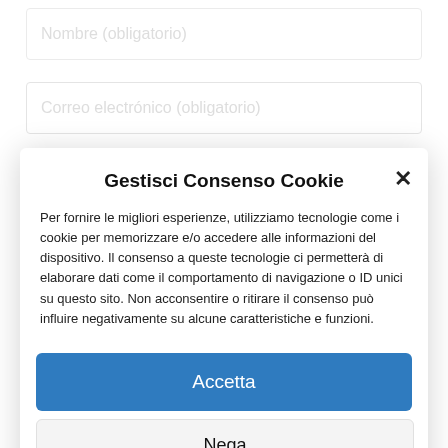Nombre (obligatorio)
Correo electrónico (obligatorio)
Gestisci Consenso Cookie
Per fornire le migliori esperienze, utilizziamo tecnologie come i cookie per memorizzare e/o accedere alle informazioni del dispositivo. Il consenso a queste tecnologie ci permetterà di elaborare dati come il comportamento di navigazione o ID unici su questo sito. Non acconsentire o ritirare il consenso può influire negativamente su alcune caratteristiche e funzioni.
Accetta
Nega
Visualizza le preferenze